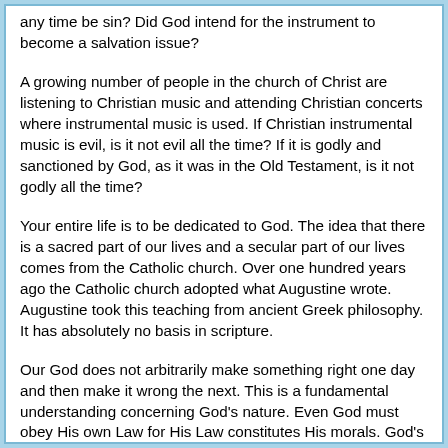any time be sin? Did God intend for the instrument to become a salvation issue?
A growing number of people in the church of Christ are listening to Christian music and attending Christian concerts where instrumental music is used. If Christian instrumental music is evil, is it not evil all the time? If it is godly and sanctioned by God, as it was in the Old Testament, is it not godly all the time?
Your entire life is to be dedicated to God. The idea that there is a sacred part of our lives and a secular part of our lives comes from the Catholic church. Over one hundred years ago the Catholic church adopted what Augustine wrote. Augustine took this teaching from ancient Greek philosophy. It has absolutely no basis in scripture.
Our God does not arbitrarily make something right one day and then make it wrong the next. This is a fundamental understanding concerning God's nature. Even God must obey His own Law for His Law constitutes His morals. God's morals did not change with Christ's death on the cross. If something is immoral